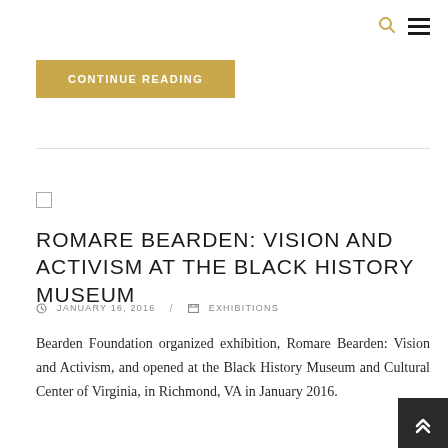Search and Menu icons (navigation header)
CONTINUE READING
ROMARE BEARDEN: VISION AND ACTIVISM AT THE BLACK HISTORY MUSEUM
JANUARY 16, 2016 / EXHIBITIONS
Bearden Foundation organized exhibition, Romare Bearden: Vision and Activism, and opened at the Black History Museum and Cultural Center of Virginia, in Richmond, VA in January 2016.